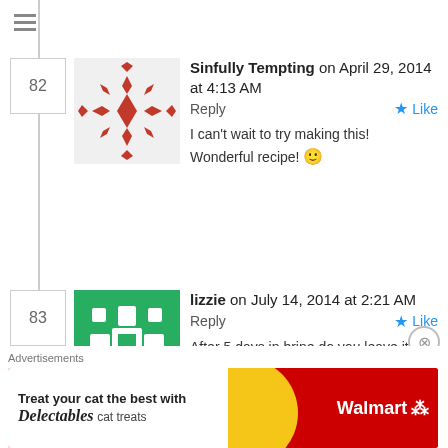82 Sinfully Tempting on April 29, 2014 at 4:13 AM Reply Like
I can't wait to try making this! Wonderful recipe! 🙂
83 lizzie on July 14, 2014 at 2:21 AM Reply Like
After 5 days in brine do you leave it in the brine or can you then put ii in olive oil to store?
Advertisements
[Figure (infographic): Walmart Delectables cat treats advertisement banner with cat photo and yellow/red background]